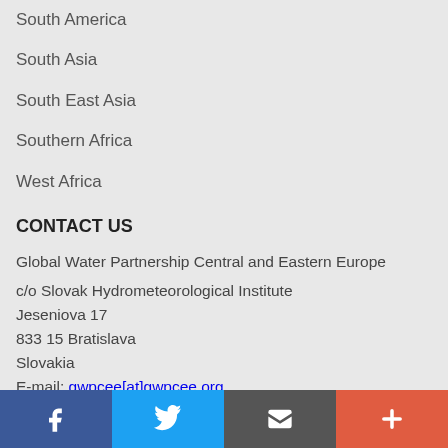South America
South Asia
South East Asia
Southern Africa
West Africa
CONTACT US
Global Water Partnership Central and Eastern Europe
c/o Slovak Hydrometeorological Institute
Jeseniova 17
833 15 Bratislava
Slovakia
E-mail: gwpcee[at]gwpcee.org
Telephone: +421 2 5941 5410
Fax: +421 2 5941 5273
f  [Twitter]  [Email]  +